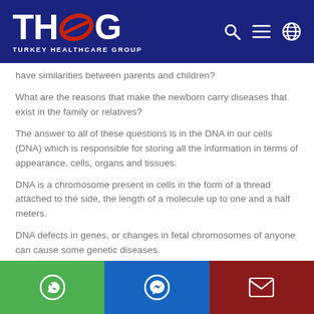Turkey Healthcare Group
have similarities between parents and children?
What are the reasons that make the newborn carry diseases that exist in the family or relatives?
The answer to all of these questions is in the DNA in our cells (DNA) which is responsible for storing all the information in terms of appearance, cells, organs and tissues.
DNA is a chromosome present in cells in the form of a thread attached to the side, the length of a molecule up to one and a half meters.
DNA defects in genes, or changes in fetal chromosomes of anyone can cause some genetic diseases.